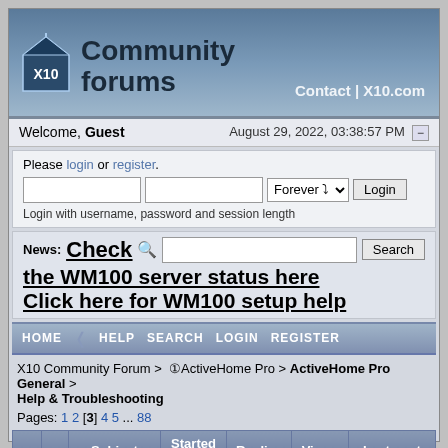Community forums — Contact | X10.com
Welcome, Guest    August 29, 2022, 03:38:57 PM
Please login or register.
Login with username, password and session length
News: Check 🔍 the WM100 server status here
Click here for WM100 setup help
HOME   HELP   SEARCH   LOGIN   REGISTER
X10 Community Forum > ❶ActiveHome Pro > ActiveHome Pro General > Help & Troubleshooting
Pages: 1 2 [3] 4 5 ... 88
|  |  | Subject | Started by | Replies | Views | Last post |
| --- | --- | --- | --- | --- | --- | --- |
|  |  | AHP Platinum... |  |  |  | March 21, 2006, 09:25:11 |